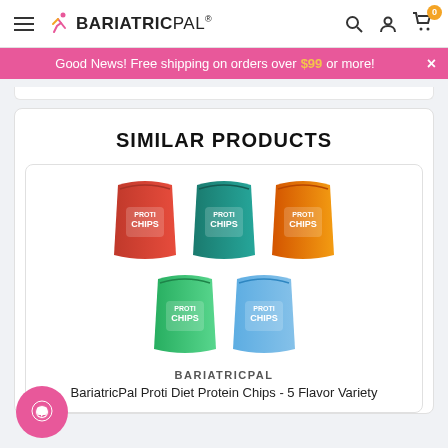BariatricPal
Good News! Free shipping on orders over $99 or more!
SIMILAR PRODUCTS
[Figure (photo): Five bags of BariatricPal Proti Diet Protein Chips in different flavors: red, teal, orange on top row; green and blue on bottom row.]
BARIATRICPAL
BariatricPal Proti Diet Protein Chips - 5 Flavor Variety